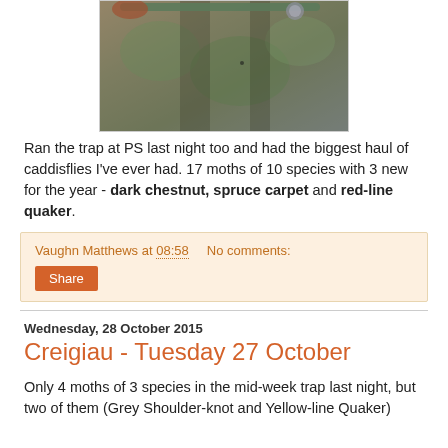[Figure (photo): Close-up photo of a mossy stone wall or tree bark with green lichen, with some metal objects visible at top]
Ran the trap at PS last night too and had the biggest haul of caddisflies I've ever had. 17 moths of 10 species with 3 new for the year - dark chestnut, spruce carpet and red-line quaker.
Vaughn Matthews at 08:58    No comments:
Share
Wednesday, 28 October 2015
Creigiau - Tuesday 27 October
Only 4 moths of 3 species in the mid-week trap last night, but two of them (Grey Shoulder-knot and Yellow-line Quaker)